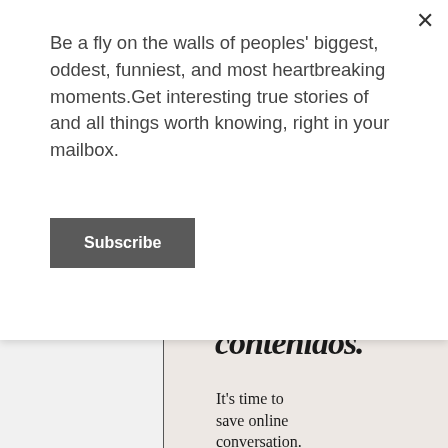Be a fly on the walls of peoples' biggest, oddest, funniest, and most heartbreaking moments.Get interesting true stories of and all things worth knowing, right in your mailbox.
Subscribe
contenidos.
It's time to save online conversation.